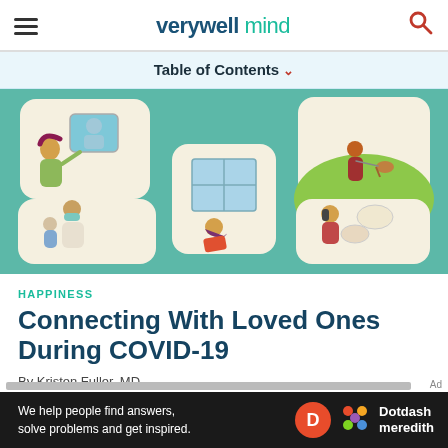verywell mind
Table of Contents
[Figure (illustration): Illustrated collage on teal background showing people in various COVID-19 pandemic scenarios: woman video chatting, person walking dog on hills, woman sitting by window reading, woman in mask with child, girl on phone chatting]
HAPPINESS
Connecting With Loved Ones During COVID-19
By Kristen Fuller, MD
We help people find answers, solve problems and get inspired. Dotdash meredith